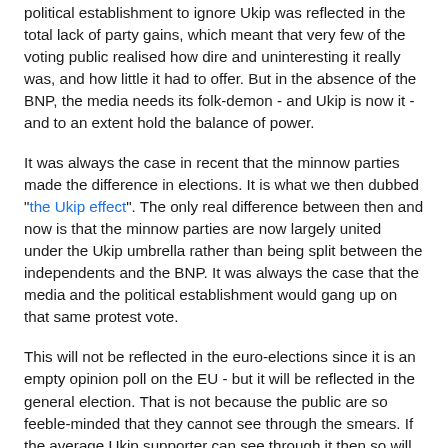political establishment to ignore Ukip  was reflected in the total lack of party gains, which meant that very few of the voting public realised how dire and uninteresting it really was, and how little it had to offer.  But in the absence of the BNP, the media needs its folk-demon - and Ukip is now it - and to an extent hold the balance of power.
It was always the case in recent that the minnow parties made the difference in elections. It is what we then dubbed "the Ukip effect". The only real difference between then and now is that the minnow parties are now largely united under the Ukip umbrella rather than being split between the independents and the BNP. It was always the case that the media and the political establishment would gang up on that same protest vote.
This will not be reflected in the euro-elections since it is an empty opinion poll on the EU - but it will be reflected in the general election.  That is not because the public are so feeble-minded that they cannot see through the smears.  If the average Ukip supporter can see through it then so will the average British voter - for they are one and the same. What will kill off Ukip is their complete lack off substance...